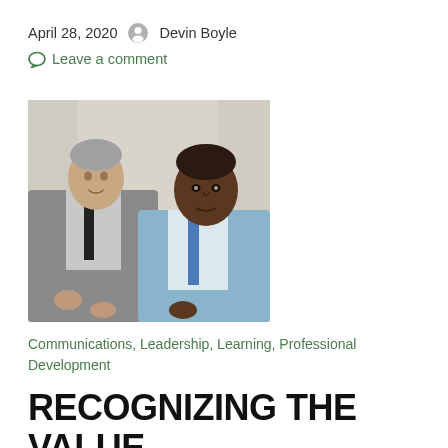April 28, 2020   Devin Boyle
Leave a comment
[Figure (photo): Two businessmen in suits, one in gray suit with black tie, one in light blue suit with blue tie, sitting together in a meeting or discussion setting.]
Communications, Leadership, Learning, Professional Development
RECOGNIZING THE VALUE